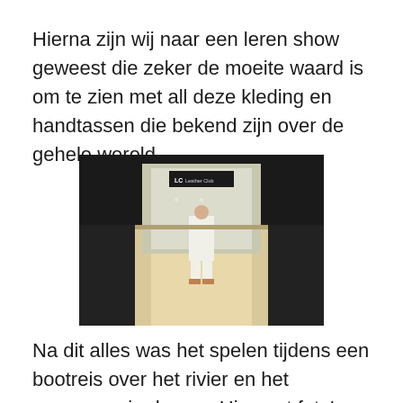Hierna zijn wij naar een leren show geweest die zeker de moeite waard is om te zien met all deze kleding en handtassen die bekend zijn over de gehele wereld.
[Figure (photo): A person dressed in white standing on a fashion show runway, with 'LC Leather Club' branding visible on a backdrop. Audience members are seated on either side.]
Na dit alles was het spelen tijdens een bootreis over het rivier en het zwemmen in de zee. Hier wat foto's die een impressie hiervan geven. Heerlijk dat zouten water die reinigt en ontspant samen met de heerlijke lunch aan